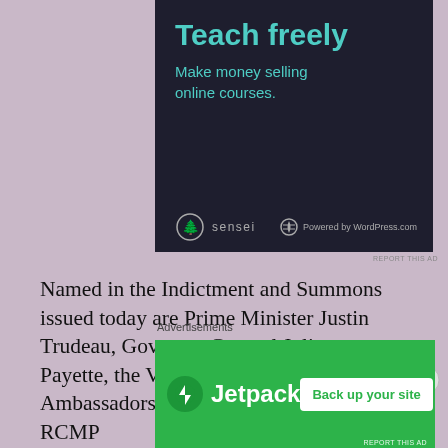[Figure (screenshot): Advertisement banner for Sensei plugin on dark background. Text reads 'Teach freely' in large teal font, 'Make money selling online courses.' below. Bottom shows Sensei logo and 'Powered by WordPress.com'.]
Named in the Indictment and Summons issued today are Prime Minister Justin Trudeau, Governor General Julie Payette, the Vatican and Chinese Ambassadors to Canada, the heads of the RCMP
[Figure (screenshot): Advertisement banner for Jetpack on green background. Shows Jetpack logo on left, 'Back up your site' button on right.]